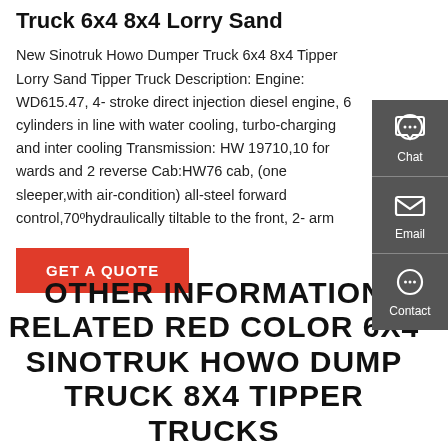Truck 6x4 8x4 Lorry Sand
New Sinotruk Howo Dumper Truck 6x4 8x4 Tipper Lorry Sand Tipper Truck Description: Engine: WD615.47, 4- stroke direct injection diesel engine, 6 cylinders in line with water cooling, turbo-charging and inter cooling Transmission: HW 19710,10 for wards and 2 reverse Cab:HW76 cab, (one sleeper,with air-condition) all-steel forward control,70ºhydraulically tiltable to the front, 2- arm
GET A QUOTE
[Figure (other): Sidebar with Chat, Email, and Contact icons on dark grey background]
OTHER INFORMATION RELATED RED COLOR 6X4 SINOTRUK HOWO DUMP TRUCK 8X4 TIPPER TRUCKS